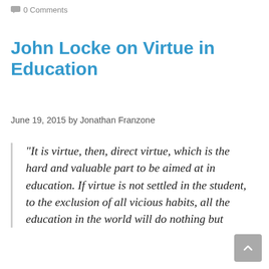0 Comments
John Locke on Virtue in Education
June 19, 2015 by Jonathan Franzone
“It is virtue, then, direct virtue, which is the hard and valuable part to be aimed at in education. If virtue is not settled in the student, to the exclusion of all vicious habits, all the education in the world will do nothing but